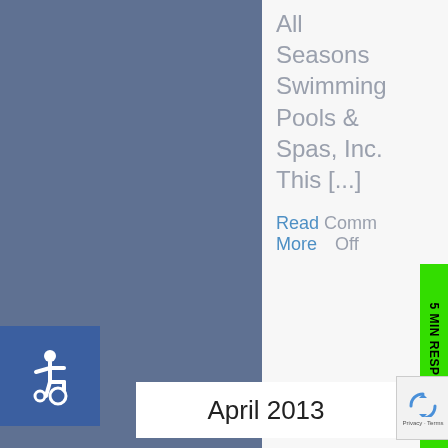All Seasons Swimming Pools & Spas, Inc. This [...]
Read More  Comments Off
[Figure (logo): Wheelchair accessibility icon — white wheelchair symbol on blue square background]
5 MIN RESPONSE
April 2013
[Figure (screenshot): reCAPTCHA widget showing rotating arrows logo with 'Privacy - Terms' text below]